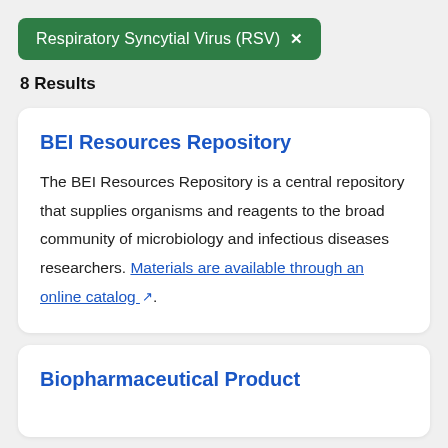Respiratory Syncytial Virus (RSV) ×
8 Results
BEI Resources Repository
The BEI Resources Repository is a central repository that supplies organisms and reagents to the broad community of microbiology and infectious diseases researchers. Materials are available through an online catalog.
Biopharmaceutical Product